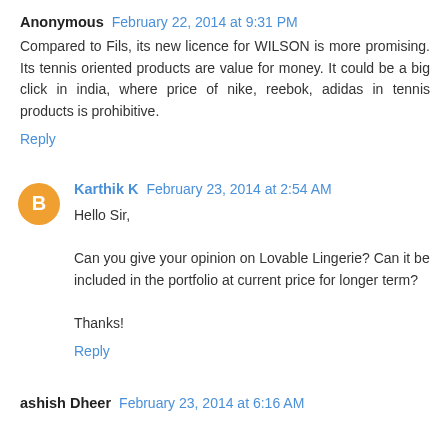Anonymous  February 22, 2014 at 9:31 PM
Compared to Fils, its new licence for WILSON is more promising. Its tennis oriented products are value for money. It could be a big click in india, where price of nike, reebok, adidas in tennis products is prohibitive.
Reply
Karthik K  February 23, 2014 at 2:54 AM
Hello Sir,

Can you give your opinion on Lovable Lingerie? Can it be included in the portfolio at current price for longer term?

Thanks!
Reply
ashish Dheer  February 23, 2014 at 6:16 AM